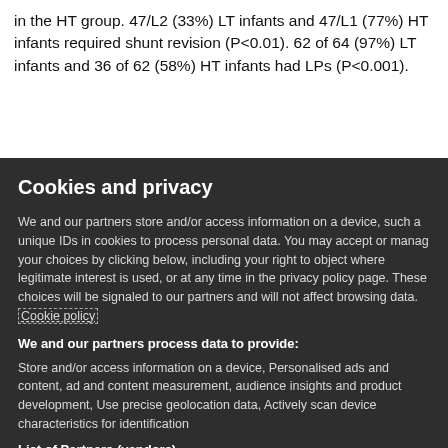in the HT group. 47/L2 (33%) LT infants and 47/L1 (77%) HT infants required shunt revision (P<0.01). 62 of 64 (97%) LT infants and 36 of 62 (58%) HT infants had LPs (P<0.001).
Cookies and privacy
We and our partners store and/or access information on a device, such as unique IDs in cookies to process personal data. You may accept or manage your choices by clicking below, including your right to object where legitimate interest is used, or at any time in the privacy policy page. These choices will be signaled to our partners and will not affect browsing data. Cookie policy
We and our partners process data to provide:
Store and/or access information on a device, Personalised ads and content, ad and content measurement, audience insights and product development, Use precise geolocation data, Actively scan device characteristics for identification
List of Partners (vendors)
I Accept